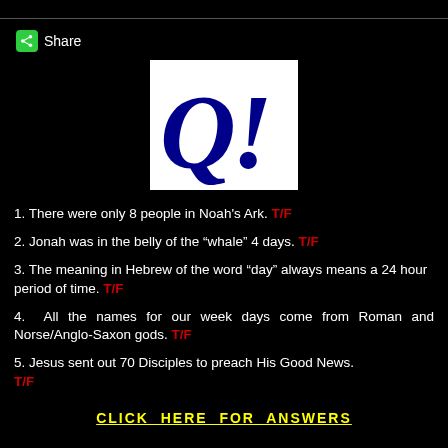[Figure (logo): Q! logo in dark blue on white background, styled as handwritten Q with exclamation mark]
1. There were only 8 people in Noah's Ark. T/F
2. Jonah was in the belly of the "whale" 4 days. T/F
3. The meaning in Hebrew of the word "day" always means a 24 hour period of time. T/F
4. All the names for our week days come from Roman and Norse/Anglo-Saxon gods. T/F
5. Jesus sent out 70 Disciples to preach His Good News. T/F
CLICK HERE FOR ANSWERS